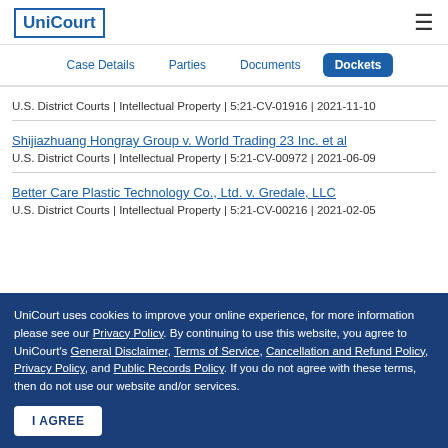UniCourt
Case Details | Parties | Documents | Dockets
U.S. District Courts | Intellectual Property | 5:21-CV-01916 | 2021-11-10
Shijiazhuang Hongray Group v. World Trading 23 Inc. et al
U.S. District Courts | Intellectual Property | 5:21-CV-00972 | 2021-06-09
Better Care Plastic Technology Co., Ltd. v. Gredale, LLC
U.S. District Courts | Intellectual Property | 5:21-CV-00216 | 2021-02-05
UniCourt uses cookies to improve your online experience, for more information please see our Privacy Policy. By continuing to use this website, you agree to UniCourt's General Disclaimer, Terms of Service, Cancellation and Refund Policy, Privacy Policy, and Public Records Policy. If you do not agree with these terms, then do not use our website and/or services.
I AGREE